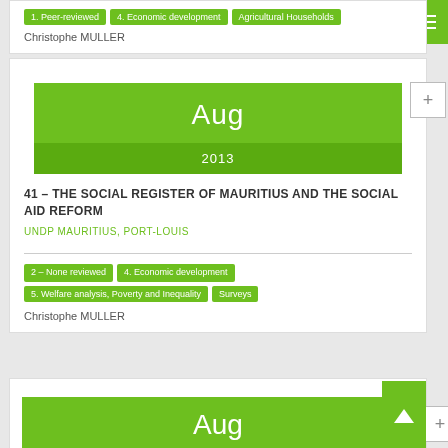1. Peer-reviewed | 4. Economic development | Agricultural Households
Christophe MULLER
[Figure (other): Date block showing Aug 2013 in green]
41 – THE SOCIAL REGISTER OF MAURITIUS AND THE SOCIAL AID REFORM
UNDP MAURITIUS, PORT-LOUIS
2 – None reviewed | 4. Economic development | 5. Welfare analysis, Poverty and Inequality | Surveys
Christophe MULLER
[Figure (other): Date block showing Aug (partial, bottom card)]